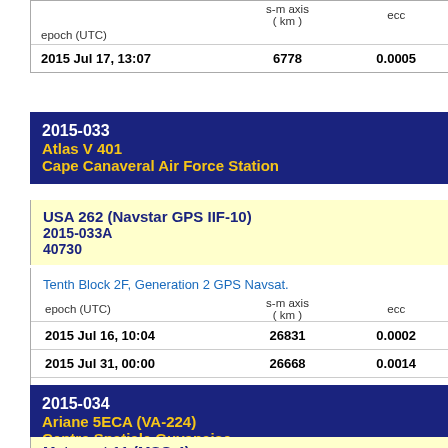| epoch (UTC) | s-m axis
( km ) | ecc |
| --- | --- | --- |
| 2015 Jul 17, 13:07 | 6778 | 0.0005 |
2015-033
Atlas V 401
Cape Canaveral Air Force Station
USA 262 (Navstar GPS IIF-10)
2015-033A
40730
Tenth Block 2F, Generation 2 GPS Navsat.
| epoch (UTC) | s-m axis
( km ) | ecc |
| --- | --- | --- |
| 2015 Jul 16, 10:04 | 26831 | 0.0002 |
| 2015 Jul 31, 00:00 | 26668 | 0.0014 |
| 2015 Aug 09, 12:39 | 26559 | 0.0016 |
2015-034
Ariane 5ECA (VA-224)
Centre Spatiale Guyanaise
Meteosat 11 (MSG 4)
2015-034A